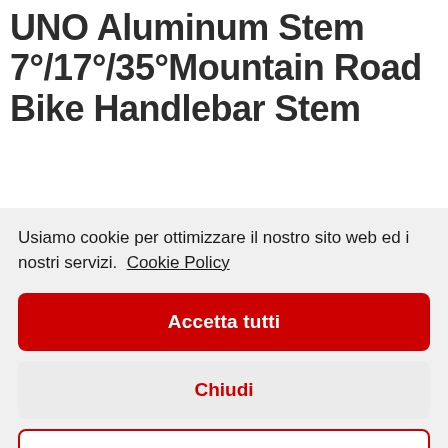UNO Aluminum Stem 7°/17°/35°Mountain Road Bike Handlebar Stem
Usiamo cookie per ottimizzare il nostro sito web ed i nostri servizi. Cookie Policy
Accetta tutti
Chiudi
Preferenze